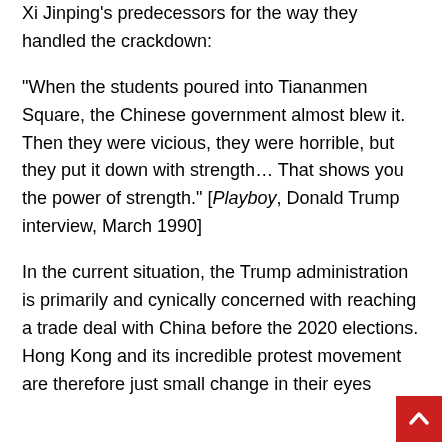Xi Jinping's predecessors for the way they handled the crackdown:
“When the students poured into Tiananmen Square, the Chinese government almost blew it. Then they were vicious, they were horrible, but they put it down with strength… That shows you the power of strength.” [Playboy, Donald Trump interview, March 1990]
In the current situation, the Trump administration is primarily and cynically concerned with reaching a trade deal with China before the 2020 elections. Hong Kong and its incredible protest movement are therefore just small change in their eyes